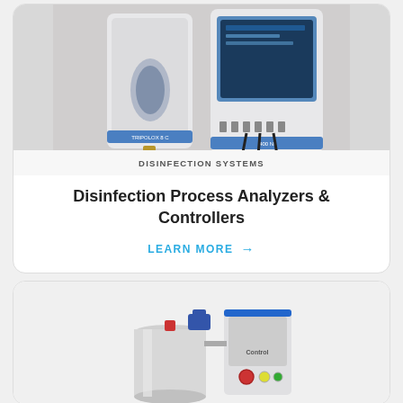[Figure (photo): Industrial disinfection system wall-mounted analyzers and controllers with cables and tubing]
DISINFECTION SYSTEMS
Disinfection Process Analyzers & Controllers
LEARN MORE →
[Figure (photo): Industrial disinfection equipment with tank and control panel]